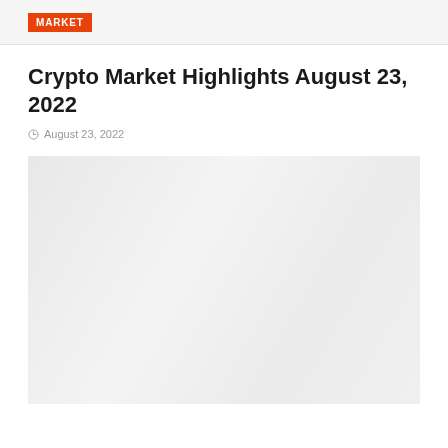MARKET
Crypto Market Highlights August 23, 2022
August 23, 2022
[Figure (photo): Large placeholder image area with light gray background, likely a chart or graphic related to crypto market highlights]